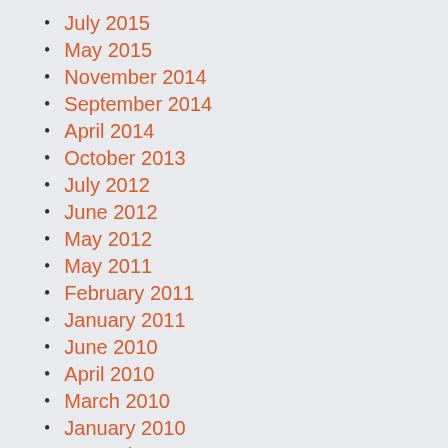July 2015
May 2015
November 2014
September 2014
April 2014
October 2013
July 2012
June 2012
May 2012
May 2011
February 2011
January 2011
June 2010
April 2010
March 2010
January 2010
December 2009
November 2009
September 2009